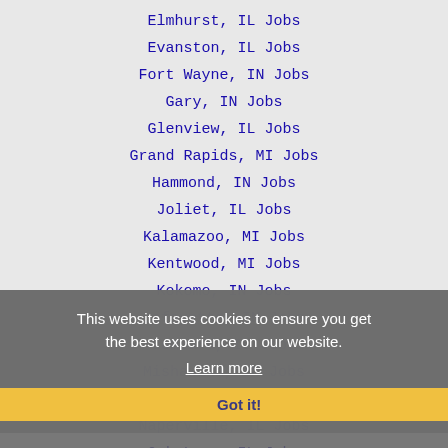Elmhurst, IL Jobs
Evanston, IL Jobs
Fort Wayne, IN Jobs
Gary, IN Jobs
Glenview, IL Jobs
Grand Rapids, MI Jobs
Hammond, IN Jobs
Joliet, IL Jobs
Kalamazoo, MI Jobs
Kentwood, MI Jobs
Kokomo, IN Jobs
Lafayette, IN Jobs
Lombard, IL Jobs
Mishawaka, IN Jobs
Mount Prospect, IL Jobs
Naperville, IL Jobs
Oak Lawn, IL Jobs
Oak Park, IL Jobs
This website uses cookies to ensure you get the best experience on our website. Learn more Got it!